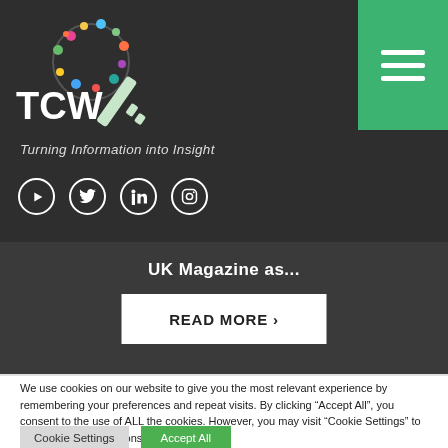TCW - Turning Information into Insight
[Figure (logo): TCW logo with colorful key icon and text 'TCW', tagline 'Turning Information into Insight', social media icons for YouTube, Twitter, LinkedIn, Instagram, green hamburger menu button top-right]
UK Magazine as...
READ MORE >
We use cookies on our website to give you the most relevant experience by remembering your preferences and repeat visits. By clicking “Accept All”, you consent to the use of ALL the cookies. However, you may visit “Cookie Settings” to provide a controlled consent.
Cookie Settings
Accept All